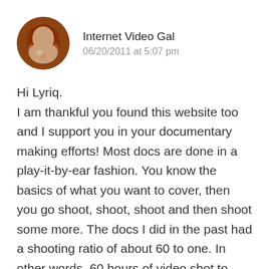[Figure (photo): Circular avatar photo of a woman with curly reddish-brown hair]
Internet Video Gal
06/20/2011 at 5:07 pm
Hi Lyriq.
I am thankful you found this website too and I support you in your documentary making efforts! Most docs are done in a play-it-by-ear fashion. You know the basics of what you want to cover, then you go shoot, shoot, shoot and then shoot some more. The docs I did in the past had a shooting ratio of about 60 to one. In other words, 60 hours of video shot to make a one-hour show. When you shoot that much, you have lots of choices and the story flows together. When it comes to copyright laws,